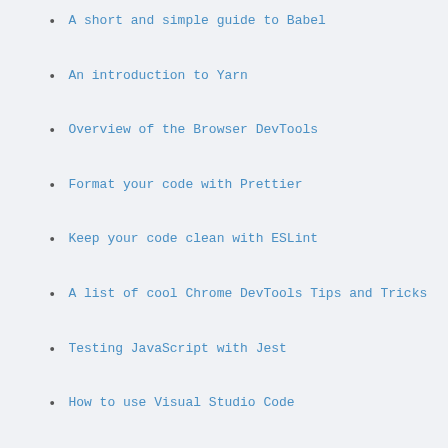A short and simple guide to Babel
An introduction to Yarn
Overview of the Browser DevTools
Format your code with Prettier
Keep your code clean with ESLint
A list of cool Chrome DevTools Tips and Tricks
Testing JavaScript with Jest
How to use Visual Studio Code
Introduction to Electron